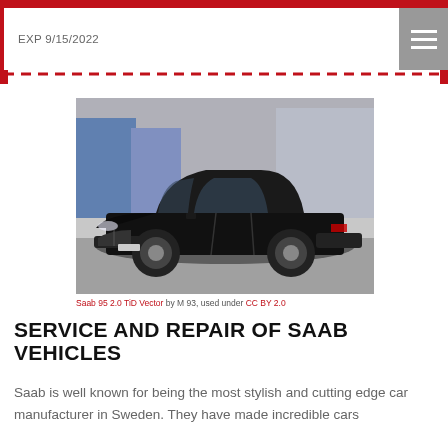EXP 9/15/2022
[Figure (photo): Black Saab 9-5 2.0 TiD Vector sedan parked in a lot, front three-quarter view]
Saab 95 2.0 TiD Vector by M 93, used under CC BY 2.0
SERVICE AND REPAIR OF SAAB VEHICLES
Saab is well known for being the most stylish and cutting edge car manufacturer in Sweden. They have made incredible cars